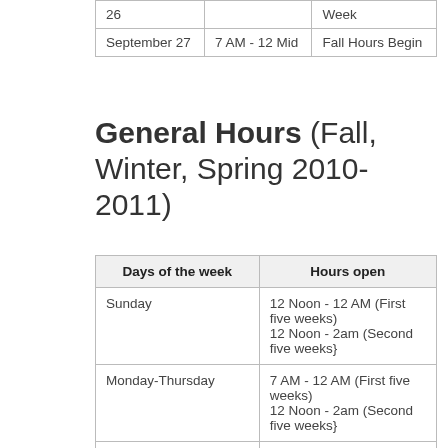|  |  |  |
| --- | --- | --- |
| 26 |  | Week |
| September 27 | 7 AM - 12 Mid | Fall Hours Begin |
General Hours (Fall, Winter, Spring 2010-2011)
| Days of the week | Hours open |
| --- | --- |
| Sunday | 12 Noon - 12 AM (First five weeks)
12 Noon - 2am (Second five weeks} |
| Monday-Thursday | 7 AM - 12 AM (First five weeks)
12 Noon - 2am (Second five weeks} |
| Friday | 7 AM - 10 PM |